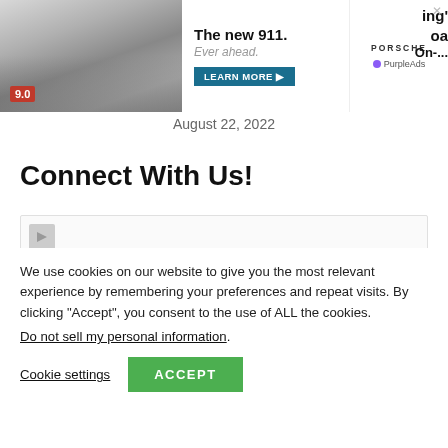[Figure (screenshot): Advertisement banner showing a Porsche 911 car with text 'The new 911. Ever ahead.' and a Learn More button. Score badge showing 9.0. Porsche logo and PurpleAds label visible. Partially visible text on right side: 'ing'', 'oa', 'On-...']
August 22, 2022
Connect With Us!
[Figure (screenshot): Social media icons placeholder box, partially visible with a small icon in the top left corner.]
We use cookies on our website to give you the most relevant experience by remembering your preferences and repeat visits. By clicking “Accept”, you consent to the use of ALL the cookies.
Do not sell my personal information.
Cookie settings
ACCEPT